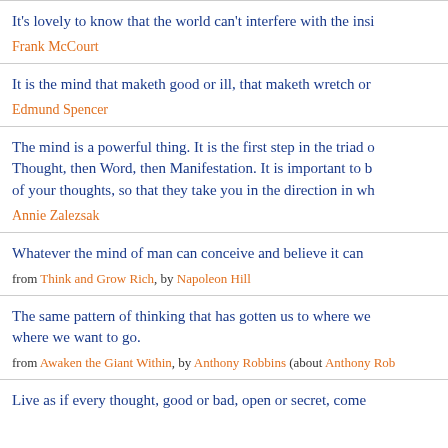It's lovely to know that the world can't interfere with the insi...
Frank McCourt
It is the mind that maketh good or ill, that maketh wretch or...
Edmund Spencer
The mind is a powerful thing. It is the first step in the triad o... Thought, then Word, then Manifestation. It is important to b... of your thoughts, so that they take you in the direction in wh...
Annie Zalezsak
Whatever the mind of man can conceive and believe it can...
from Think and Grow Rich, by Napoleon Hill
The same pattern of thinking that has gotten us to where we... where we want to go.
from Awaken the Giant Within, by Anthony Robbins (about Anthony Rob...
Live as if every thought, good or bad, open or secret, come...